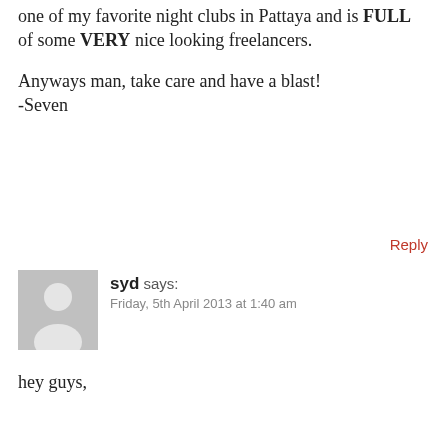one of my favorite night clubs in Pattaya and is FULL of some VERY nice looking freelancers.

Anyways man, take care and have a blast!
-Seven
Reply
syd says:
Friday, 5th April 2013 at 1:40 am
hey guys,

i will be in bangkok from 28th april till 3th may. will be traveling alone anyone free to hit the club. let me know
Reply
Lorenzo says:
Friday, 28th December 2012 at 8:16 pm